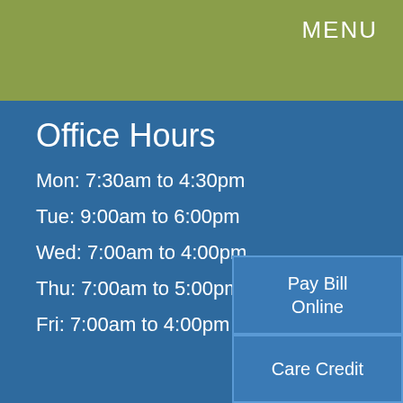MENU
Office Hours
Mon: 7:30am to 4:30pm
Tue: 9:00am to 6:00pm
Wed: 7:00am to 4:00pm
Thu: 7:00am to 5:00pm
Fri: 7:00am to 4:00pm
Pay Bill Online
Care Credit